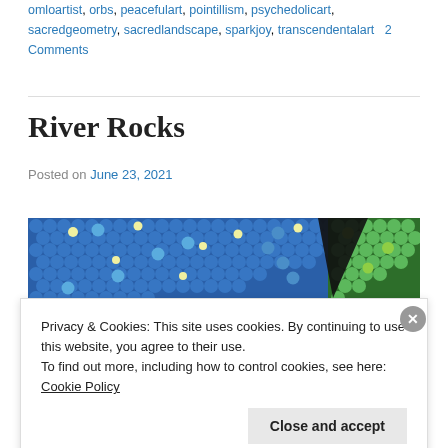omloartist, orbs, peacefulart, pointillism, psychedolicart, sacredgeometry, sacredlandscape, sparkjoy, transcendentalart   2 Comments
River Rocks
Posted on June 23, 2021
[Figure (photo): Close-up of pointillist dot painting showing colorful circles in blue and green tones, resembling river rocks or bubbles. A black triangular shape appears on the right side surrounded by green dots.]
Privacy & Cookies: This site uses cookies. By continuing to use this website, you agree to their use.
To find out more, including how to control cookies, see here: Cookie Policy
Close and accept